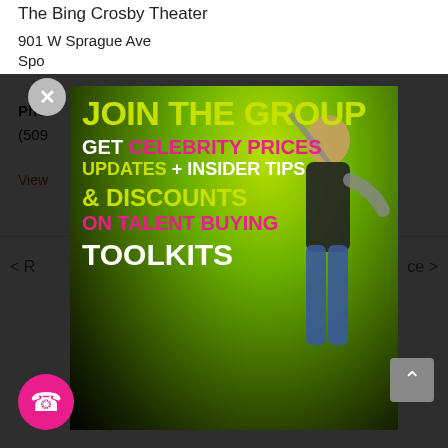The Bing Crosby Theater
901 W Sprague Ave
Spo...
Pho...
(509...
View...
[Figure (photo): A popup advertisement over a venue listing page. The ad shows a performer on stage with green stage lighting. Text overlay reads: JOIN THE GROUP / GET CELEBRITY PRICES / UPDATES + INSIDER TIPS / & DISCOUNTS / ON TALENT BUYING / TOOLKITS. Text is in yellow-green, white, and hot pink colors. A close (X) button appears at top left. A pink phone/call button is visible at the bottom left. A gray scroll-up button appears at the bottom right.]